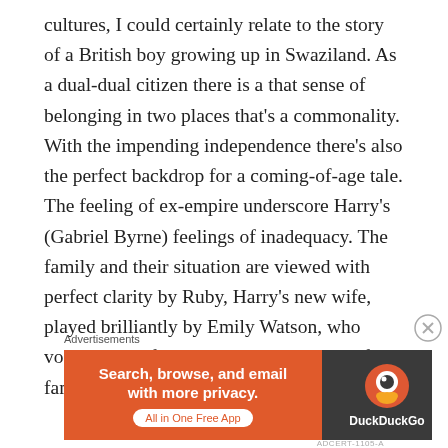cultures, I could certainly relate to the story of a British boy growing up in Swaziland. As a dual-dual citizen there is a that sense of belonging in two places that's a commonality. With the impending independence there's also the perfect backdrop for a coming-of-age tale. The feeling of ex-empire underscore Harry's (Gabriel Byrne) feelings of inadequacy. The family and their situation are viewed with perfect clarity by Ruby, Harry's new wife, played brilliantly by Emily Watson, who vocalizes the film's title as an imitation of the family's complaining. Alongside them is
Advertisements
[Figure (other): DuckDuckGo advertisement banner: orange left section with text 'Search, browse, and email with more privacy. All in One Free App' and dark right section with DuckDuckGo logo and brand name.]